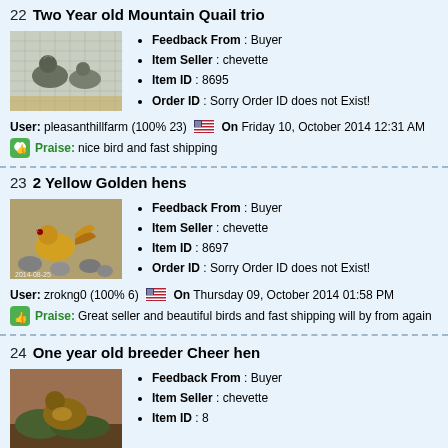22  Two Year old Mountain Quail trio
[Figure (photo): Photo of mountain quail birds in a cage/enclosure]
Feedback From : Buyer
Item Seller : chevette
Item ID : 8695
Order ID : Sorry Order ID does not Exist!
User: pleasanthillfarm (100% 23) [flag] On Friday 10, October 2014 12:31 AM
Praise: nice bird and fast shipping
23  2 Yellow Golden hens
[Figure (photo): Photo of a yellow golden hen bird]
Feedback From : Buyer
Item Seller : chevette
Item ID : 8697
Order ID : Sorry Order ID does not Exist!
User: zrokng0 (100% 6) [flag] On Thursday 09, October 2014 01:58 PM
Praise: Great seller and beautiful birds and fast shipping will by from again
24  One year old breeder Cheer hen
[Figure (photo): Photo of a Cheer hen bird]
Feedback From : Buyer
Item Seller : chevette